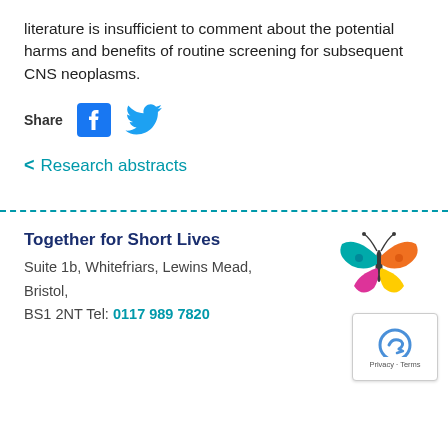literature is insufficient to comment about the potential harms and benefits of routine screening for subsequent CNS neoplasms.
[Figure (other): Share icons: Facebook and Twitter/X logos in blue]
< Research abstracts
Together for Short Lives
Suite 1b, Whitefriars, Lewins Mead,
Bristol,
BS1 2NT Tel: 0117 989 7820